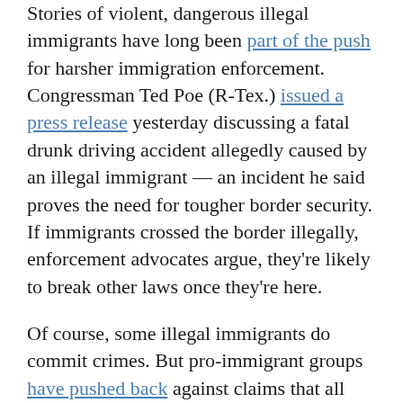Stories of violent, dangerous illegal immigrants have long been part of the push for harsher immigration enforcement. Congressman Ted Poe (R-Tex.) issued a press release yesterday discussing a fatal drunk driving accident allegedly caused by an illegal immigrant — an incident he said proves the need for tougher border security. If immigrants crossed the border illegally, enforcement advocates argue, they're likely to break other laws once they're here.
Of course, some illegal immigrants do commit crimes. But pro-immigrant groups have pushed back against claims that all illegal immigrants are dangerous. Instead, they argue, most simply want to find better economic opportunities and live peacefully in the U.S.
Discussion & Comments (0)